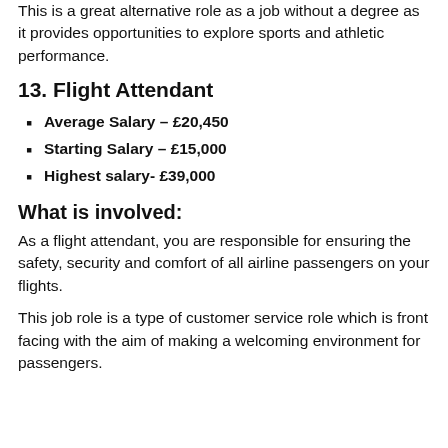This is a great alternative role as a job without a degree as it provides opportunities to explore sports and athletic performance.
13. Flight Attendant
Average Salary – £20,450
Starting Salary – £15,000
Highest salary- £39,000
What is involved:
As a flight attendant, you are responsible for ensuring the safety, security and comfort of all airline passengers on your flights.
This job role is a type of customer service role which is front facing with the aim of making a welcoming environment for passengers.